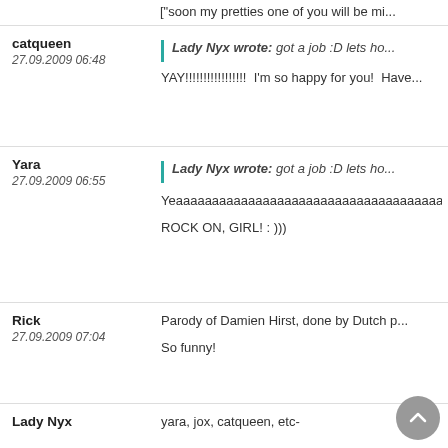["soon my pretties one of you will be mi...
Lady Nyx wrote: got a job :D lets ho...
catqueen
27.09.2009 06:48
YAY!!!!!!!!!!!!!!!!  I'm so happy for you!  Have...
Lady Nyx wrote: got a job :D lets ho...
Yara
27.09.2009 06:55
Yeaaaaaaaaaaaaaaaaaaaaaaaaaaaaaaaaaaa...
ROCK ON, GIRL! : )))
Rick
27.09.2009 07:04
Parody of Damien Hirst, done by Dutch p...
So funny!
yara, jox, catqueen, etc-
Lady Nyx